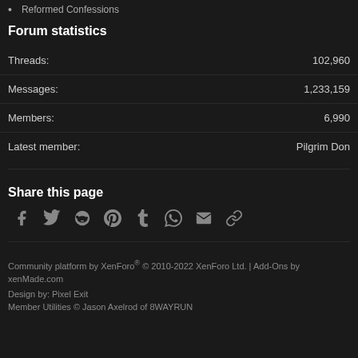Reformed Confessions
Forum statistics
Threads: 102,960
Messages: 1,233,159
Members: 6,990
Latest member: Pilgrim Don
Share this page
[Figure (infographic): Social share icons: Facebook, Twitter, Reddit, Pinterest, Tumblr, WhatsApp, Email, Link]
Community platform by XenForo® © 2010-2022 XenForo Ltd. | Add-Ons by xenMade.com
Design by: Pixel Exit
Member Utilities © Jason Axelrod of 8WAYRUN